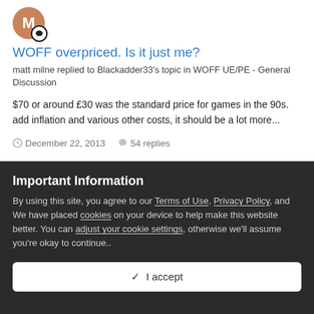[Figure (illustration): User avatar circle with letter M and a chat bubble badge icon]
WOFF overpriced. Is it just me?
matt milne replied to Blackadder33's topic in WOFF UE/PE - General Discussion
$70 or around £30 was the standard price for games in the 90s. add inflation and various other costs, it should be a lot more...
December 22, 2013   54 replies
[Figure (illustration): Second user avatar circle with letter M and a chat bubble badge icon]
Important Information
By using this site, you agree to our Terms of Use, Privacy Policy, and We have placed cookies on your device to help make this website better. You can adjust your cookie settings, otherwise we'll assume you're okay to continue..
✓  I accept